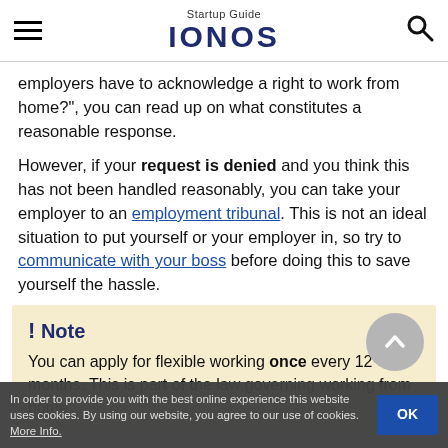Startup Guide IONOS
employers have to acknowledge a right to work from home?", you can read up on what constitutes a reasonable response.
However, if your request is denied and you think this has not been handled reasonably, you can take your employer to an employment tribunal. This is not an ideal situation to put yourself or your employer in, so try to communicate with your boss before doing this to save yourself the hassle.
! Note
You can apply for flexible working once every 12 months. This is part of the law governing working from home
In order to provide you with the best online experience this website uses cookies. By using our website, you agree to our use of cookies. More Info.